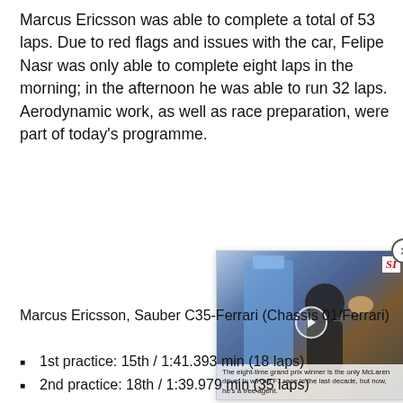Marcus Ericsson was able to complete a total of 53 laps. Due to red flags and issues with the car, Felipe Nasr was only able to complete eight laps in the morning; in the afternoon he was able to run 32 laps. Aerodynamic work, as well as race preparation, were part of today's programme.
[Figure (screenshot): Video overlay showing a racing driver holding a trophy, with Sports Illustrated (SI) badge in top right, a play button in the center, and a caption at the bottom reading: 'The eight-time grand prix winner is the only McLaren driver to win an F1 race in the last decade, but now, he's a free agent.']
Marcus Ericsson, Sauber C35-Ferrari (Chassis 01/Ferrari)
1st practice: 15th / 1:41.393 min (18 laps)
2nd practice: 18th / 1:39.979 min (35 laps)